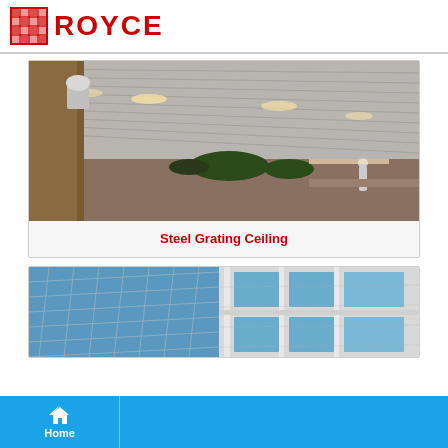ROYCE
[Figure (photo): Interior photo of a steel grating ceiling in a large room with recessed lighting and people visible in the background]
Steel Grating Ceiling
[Figure (photo): Exterior photo of a building facade showing steel grating panels and blue glass windows]
Home